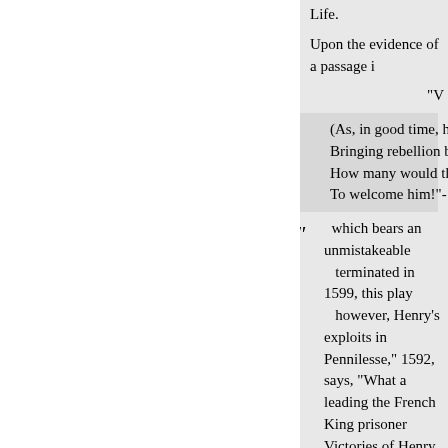Life.
Upon the evidence of a passage i
"V
(As, in good time, he may,)
Bringing rebellion broached
How many would the peace
To welcome him!"-
" which bears an unmistakeable terminated in 1599, this play however, Henry's exploits in Pennilesse," 1592, says, "What a leading the French King prisoner Victories of Henry the Fift," alre Shakespeare's "Henry V."
Malone assumes the old historica same piece, which he says was e Chief Justice and the Clown, die
The events comprehended in " H marriage of Katharine, the Frenc